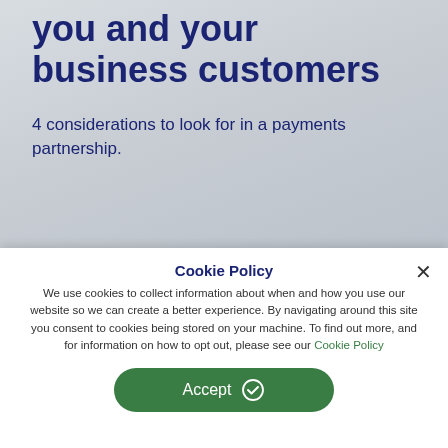you and your business customers
4 considerations to look for in a payments partnership.
Cookie Policy
We use cookies to collect information about when and how you use our website so we can create a better experience. By navigating around this site you consent to cookies being stored on your machine. To find out more, and for information on how to opt out, please see our Cookie Policy